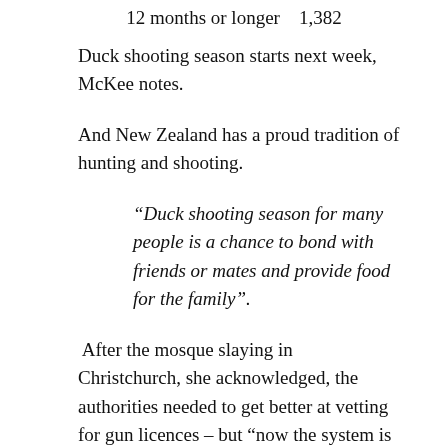12 months or longer   1,382
Duck shooting season starts next week, McKee notes.
And New Zealand has a proud tradition of hunting and shooting.
“Duck shooting season for many people is a chance to bond with friends or mates and provide food for the family”.
After the mosque slaying in Christchurch, she acknowledged, the authorities needed to get better at vetting for gun licences – but “now the system is more broken than ever.”
But whoa there.